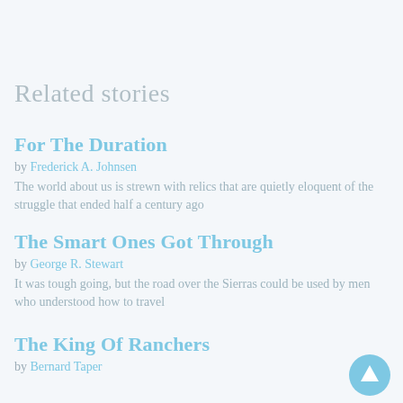Related stories
For The Duration
by Frederick A. Johnsen
The world about us is strewn with relics that are quietly eloquent of the struggle that ended half a century ago
The Smart Ones Got Through
by George R. Stewart
It was tough going, but the road over the Sierras could be used by men who understood how to travel
The King Of Ranchers
by Bernard Taper
[Figure (illustration): Circular scroll-up navigation button with upward arrow, light blue color]